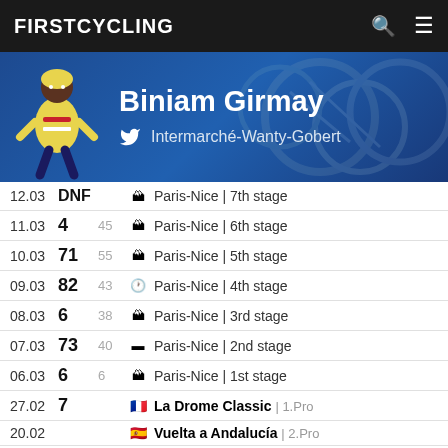FIRSTCYCLING
Biniam Girmay
Intermarché-Wanty-Gobert
| Date | Pos | PCS | Icon | Race |
| --- | --- | --- | --- | --- |
| 12.03 | DNF |  |  | Paris-Nice | 7th stage |
| 11.03 | 4 | 45 |  | Paris-Nice | 6th stage |
| 10.03 | 71 | 55 |  | Paris-Nice | 5th stage |
| 09.03 | 82 | 43 |  | Paris-Nice | 4th stage |
| 08.03 | 6 | 38 |  | Paris-Nice | 3rd stage |
| 07.03 | 73 | 40 |  | Paris-Nice | 2nd stage |
| 06.03 | 6 | 6 |  | Paris-Nice | 1st stage |
| 27.02 | 7 |  | 🇫🇷 | La Drome Classic | 1.Pro |
| 20.02 |  |  | 🇪🇸 | Vuelta a Andalucía | 2.Pro |
| 20.02 | 68 |  |  | Vuelta a Andalucía | Overall |
| 20.02 | 94 | 68 |  | Vuelta a Andalucía | 5th stage |
| 19.02 | 73 | 52 |  | Vuelta a Andalucía | 4th stage |
| 18.02 | 38 | 35 |  | Vuelta a Andalucía | 3rd stage |
| 17.02 | 31 |  |  | Vuelta a Andalucía | 2nd stage |